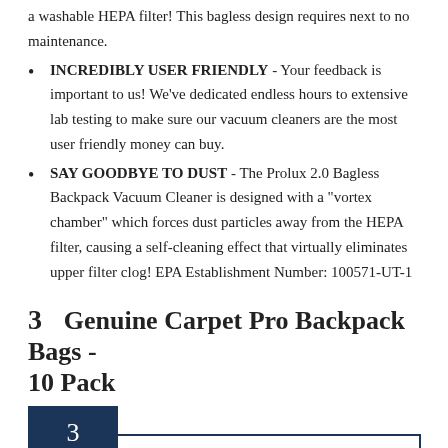a washable HEPA filter! This bagless design requires next to no maintenance.
INCREDIBLY USER FRIENDLY - Your feedback is important to us! We've dedicated endless hours to extensive lab testing to make sure our vacuum cleaners are the most user friendly money can buy.
SAY GOODBYE TO DUST - The Prolux 2.0 Bagless Backpack Vacuum Cleaner is designed with a "vortex chamber" which forces dust particles away from the HEPA filter, causing a self-cleaning effect that virtually eliminates upper filter clog! EPA Establishment Number: 100571-UT-1
3   Genuine Carpet Pro Backpack Bags - 10 Pack
[Figure (other): Product ranking badge showing number 3 in a dark navy box, with a bordered product image area below containing a partial view of the product.]